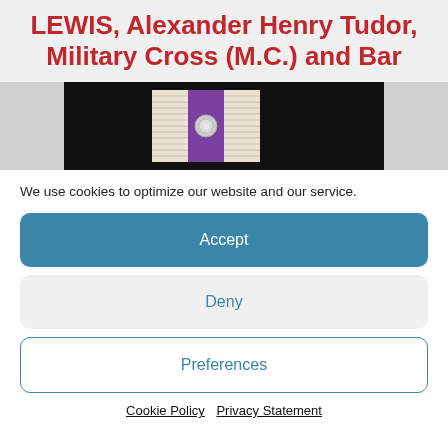LEWIS, Alexander Henry Tudor, Military Cross (M.C.) and Bar
[Figure (photo): A medal ribbon for the Military Cross with Bar, white/cream ribbon with purple central stripe and a silver rosette, photographed against a black background with grey borders on sides.]
We use cookies to optimize our website and our service.
Accept
Deny
Preferences
Cookie Policy   Privacy Statement